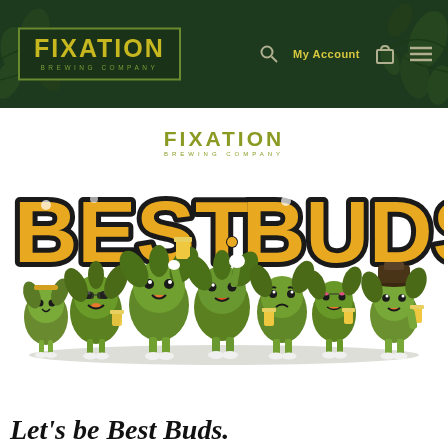FIXATION BREWING COMPANY — Navigation bar with logo, search, My Account, cart, and menu icons
[Figure (logo): Fixation Brewing Company logo — 'FIXATION' in bold golden/yellow lettering on dark green background with 'BREWING COMPANY' subtitle]
[Figure (illustration): Best Buds illustration: large retro-style text 'BEST BUDS' in yellow/gold with black outline, surrounded by cartoon hop cone characters holding beer glasses, celebrating together]
Let's be Best Buds.